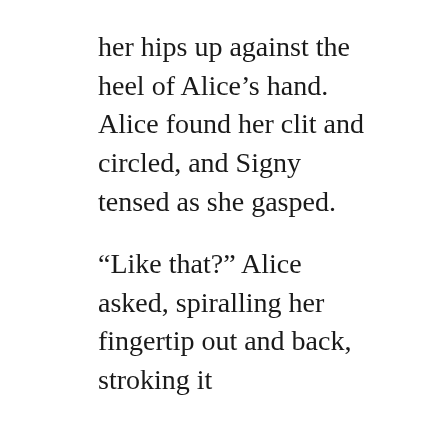her hips up against the heel of Alice’s hand. Alice found her clit and circled, and Signy tensed as she gasped.

“Like that?” Alice asked, spiralling her fingertip out and back, stroking it